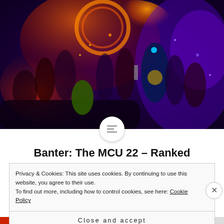[Figure (photo): Avengers movie promotional poster collage featuring many Marvel superheroes including Iron Man, Captain America, Thor, Hulk, Black Widow, and others against a dramatic red and purple cosmic background]
Banter: The MCU 22 – Ranked
Privacy & Cookies: This site uses cookies. By continuing to use this website, you agree to their use.
To find out more, including how to control cookies, see here: Cookie Policy
Close and accept